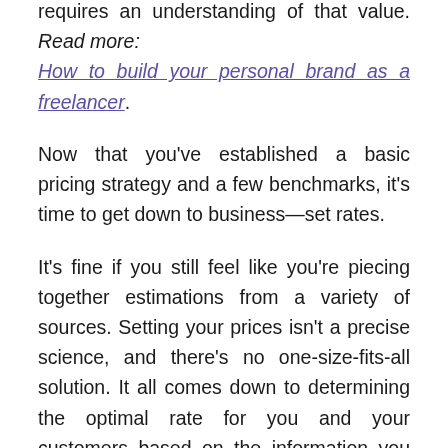requires an understanding of that value. Read more: How to build your personal brand as a freelancer.
Now that you've established a basic pricing strategy and a few benchmarks, it's time to get down to business—set rates.
It's fine if you still feel like you're piecing together estimations from a variety of sources. Setting your prices isn't a precise science, and there's no one-size-fits-all solution. It all comes down to determining the optimal rate for you and your customers based on the information you have.
Moreover, your charges are never set in stone—you can negotiate with clients you truly want to work with, modify your pricing system if it doesn't work for you